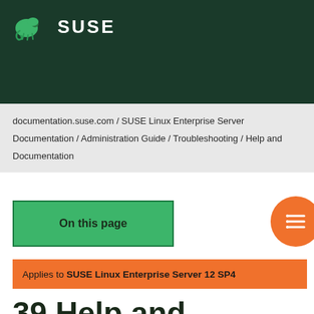[Figure (logo): SUSE logo with green chameleon icon and white SUSE text on dark green background]
documentation.suse.com / SUSE Linux Enterprise Server Documentation / Administration Guide / Troubleshooting / Help and Documentation
On this page
Applies to SUSE Linux Enterprise Server 12 SP4
39 Help and Documentation